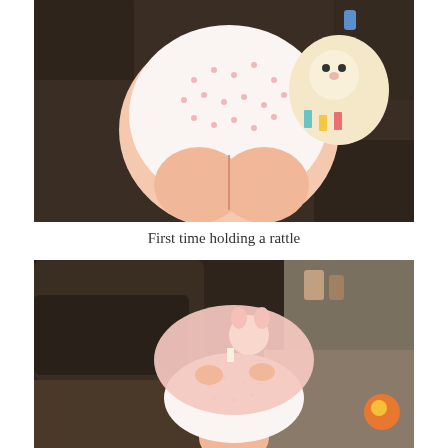[Figure (photo): Baby in a white onesie with pink polka dots lying on a dark leather couch, holding a stuffed animal rattle toy with colorful ribbons]
First time holding a rattle
[Figure (photo): Baby lying on a dark leather recliner, holding a pink stuffed security blanket toy; baby is wearing a white polka dot onesie; other toys visible in background]